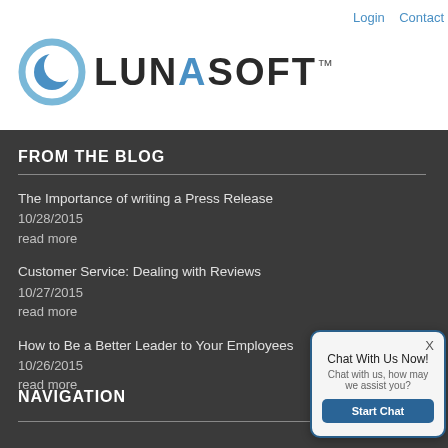Login   Contact
[Figure (logo): LunaSoft logo with crescent moon icon in blue circle and company name LUNASOFT with trademark symbol]
FROM THE BLOG
The Importance of writing a Press Release
10/28/2015
read more
Customer Service: Dealing with Reviews
10/27/2015
read more
How to Be a Better Leader to Your Employees
10/26/2015
read more
NAVIGATION
Chat With Us Now!
Chat with us, how may we assist you?
Start Chat